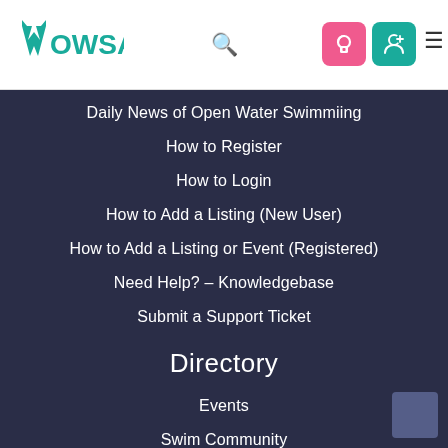[Figure (logo): WOWSA logo with teal W and text]
WOWSA navigation header with search, login icons, and hamburger menu
Daily News of Open Water Swimmiing
How to Register
How to Login
How to Add a Listing (New User)
How to Add a Listing or Event (Registered)
Need Help? – Knowledgebase
Submit a Support Ticket
Directory
Events
Swim Community
Coaches
Associations